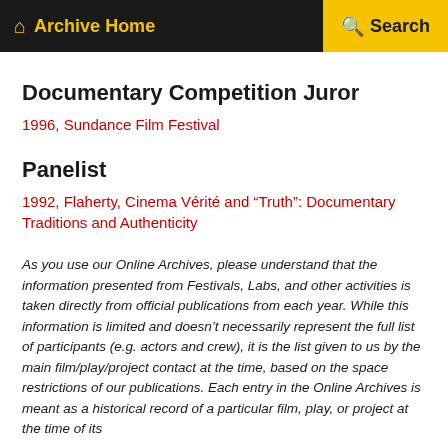Archive Home   Search
Documentary Competition Juror
1996, Sundance Film Festival
Panelist
1992, Flaherty, Cinema Vérité and “Truth”: Documentary Traditions and Authenticity
As you use our Online Archives, please understand that the information presented from Festivals, Labs, and other activities is taken directly from official publications from each year. While this information is limited and doesn’t necessarily represent the full list of participants (e.g. actors and crew), it is the list given to us by the main film/play/project contact at the time, based on the space restrictions of our publications. Each entry in the Online Archives is meant as a historical record of a particular film, play, or project at the time of its